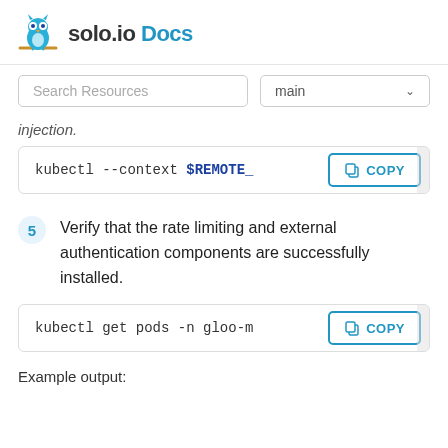solo.io Docs
Search Resources | main
injection.
[Figure (screenshot): Code block: kubectl --context $REMOTE_ ... with COPY button]
5  Verify that the rate limiting and external authentication components are successfully installed.
[Figure (screenshot): Code block: kubectl get pods -n gloo-m ... with COPY button]
Example output: